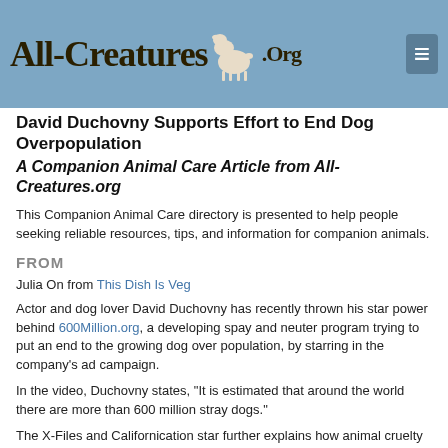[Figure (logo): All-Creatures.org logo with stylized text and a lamb/deer animal illustration on a blue background]
David Duchovny Supports Effort to End Dog Overpopulation
A Companion Animal Care Article from All-Creatures.org
This Companion Animal Care directory is presented to help people seeking reliable resources, tips, and information for companion animals.
FROM
Julia On from This Dish Is Veg
Actor and dog lover David Duchovny has recently thrown his star power behind 600Million.org, a developing spay and neuter program trying to put an end to the growing dog over population, by starring in the company's ad campaign.
In the video, Duchovny states, "It is estimated that around the world there are more than 600 million stray dogs."
The X-Files and Californication star further explains how animal cruelty is not illegal in some counties, and therefore it is common for "population control." Or, in other words, to torture and murder dogs by horrific means such as "throat slitting, beating, electrocution, and shooting."
600Million.org hopes to create a pill that can be easily taken to make a dog